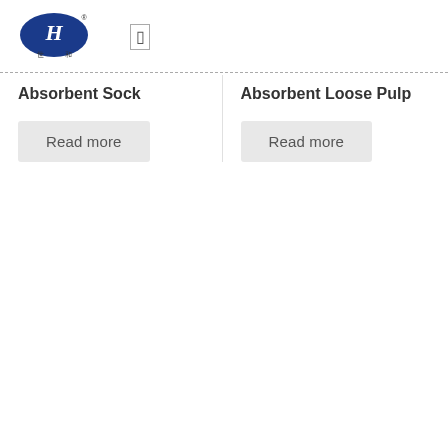[Figure (logo): Blue oval logo with stylized 'H' script letter and Chinese characters below reading 世和]
Absorbent Sock
Absorbent Loose Pulp
Read more
Read more